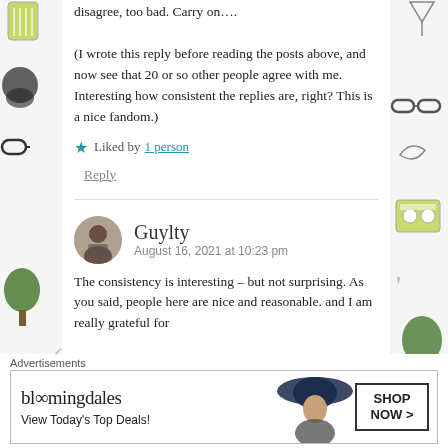disagree, too bad. Carry on….

(I wrote this reply before reading the posts above, and now see that 20 or so other people agree with me. Interesting how consistent the replies are, right? This is a nice fandom.)
★ Liked by 1 person
Reply
Guylty
August 16, 2021 at 10:23 pm
The consistency is interesting – but not surprising. As you said, people here are nice and reasonable. and I am really grateful for
Advertisements
[Figure (other): Bloomingdales advertisement banner: logo 'bloomingdales', tagline 'View Today's Top Deals!', image of woman with wide-brim hat, button 'SHOP NOW >']